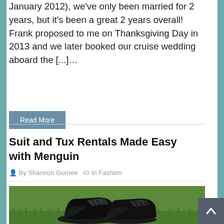January 2012), we've only been married for 2 years, but it's been a great 2 years overall! Frank proposed to me on Thanksgiving Day in 2013 and we later booked our cruise wedding aboard the [...]…
Read More
Suit and Tux Rentals Made Easy with Menguin
By Shannon Gurnee   In Fashion
[Figure (photo): Black formal dress shoes on green grass]